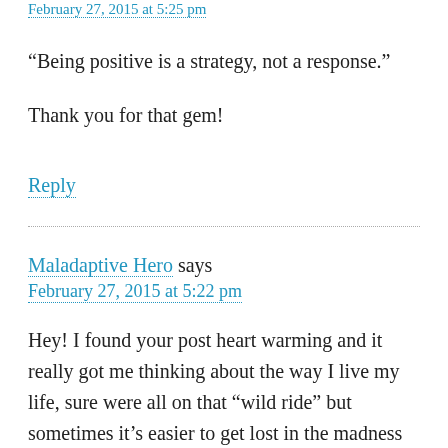February 27, 2015 at 5:25 pm
“Being positive is a strategy, not a response.”
Thank you for that gem!
Reply
Maladaptive Hero says
February 27, 2015 at 5:22 pm
Hey! I found your post heart warming and it really got me thinking about the way I live my life, sure were all on that “wild ride” but sometimes it’s easier to get lost in the madness of it all!